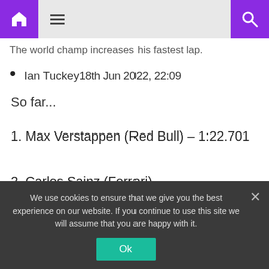Home | Menu | Search
The world champ increases his fastest lap.
Ian Tuckey 18th Jun 2022, 22:09
So far...
1. Max Verstappen (Red Bull) – 1:22.701
2. Carlos Sainz (Ferrari)
3. Fernando Alonso (Alpine)
We use cookies to ensure that we give you the best experience on our website. If you continue to use this site we will assume that you are happy with it.